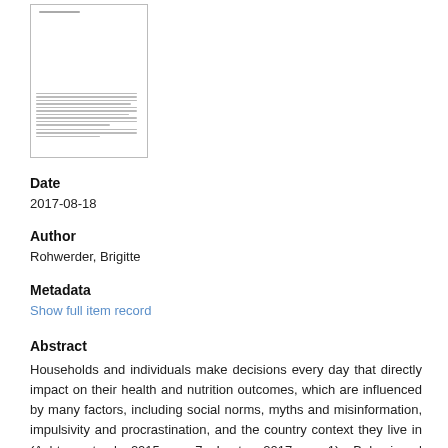[Figure (other): Thumbnail preview of a document page showing small lines of text]
Date
2017-08-18
Author
Rohwerder, Brigitte
Metadata
Show full item record
Abstract
Households and individuals make decisions every day that directly impact on their health and nutrition outcomes, which are influenced by many factors, including social norms, myths and misinformation, impulsivity and procrastination, and the country context they live in (Ashton et al, 2015, p. 7; Luoto, 2017, p. 1). Behavioural economics/insights can help explain this decision making and create an environment in which people make choices that are